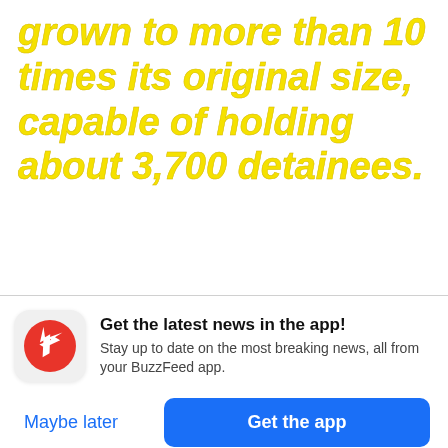grown to more than 10 times its original size, capable of holding about 3,700 detainees.
Get the latest news in the app! Stay up to date on the most breaking news, all from your BuzzFeed app.
Maybe later
Get the app